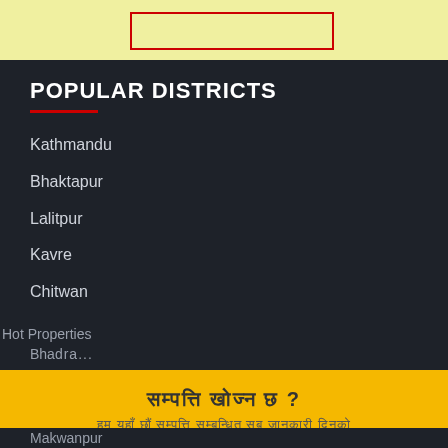[Figure (screenshot): Yellow/light-green top bar with a red-bordered search input box]
POPULAR DISTRICTS
Kathmandu
Bhaktapur
Lalitpur
Kavre
Chitwan
Hot Properties
Bhadra...
सम्पत्ति खोज्न छ ?
हम यहाँ छौं सम्पत्ति सम्बन्धित सबै जानकारी दिनको
Read More
Makwanpur